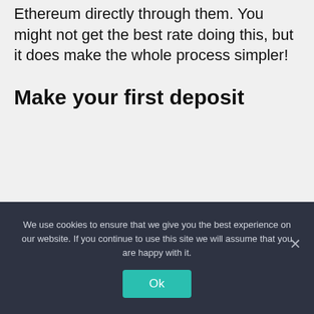Ethereum directly through them. You might not get the best rate doing this, but it does make the whole process simpler!
Make your first deposit
We use cookies to ensure that we give you the best experience on our website. If you continue to use this site we will assume that you are happy with it.